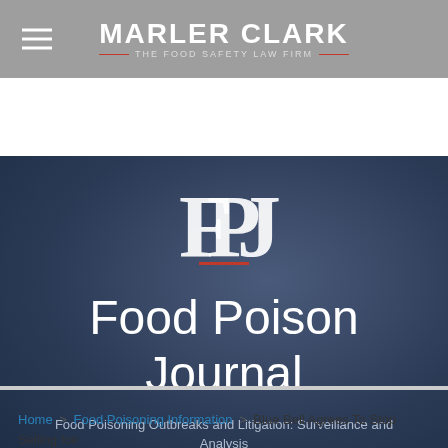MARLER CLARK — THE FOOD SAFETY LAW FIRM
[Figure (logo): FPJ monogram logo in white serif letters on dark blue background]
Food Poison Journal
Food Poisoning Outbreaks and Litigation: Surveillance and Analysis
Home > Food Poisoning Information > Blue Bell Agrees To Stop Selling Ice Cream With Listeria